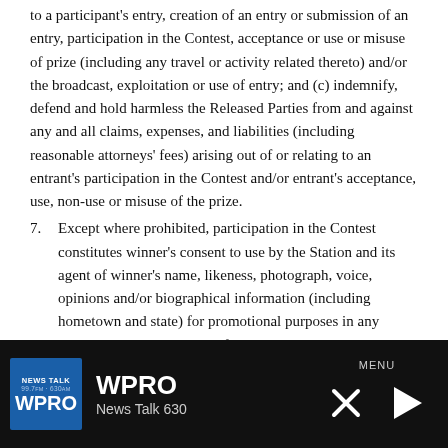to a participant's entry, creation of an entry or submission of an entry, participation in the Contest, acceptance or use or misuse of prize (including any travel or activity related thereto) and/or the broadcast, exploitation or use of entry; and (c) indemnify, defend and hold harmless the Released Parties from and against any and all claims, expenses, and liabilities (including reasonable attorneys' fees) arising out of or relating to an entrant's participation in the Contest and/or entrant's acceptance, use, non-use or misuse of the prize.
7. Except where prohibited, participation in the Contest constitutes winner's consent to use by the Station and its agent of winner's name, likeness, photograph, voice, opinions and/or biographical information (including hometown and state) for promotional purposes in any media, worldwide, without further payment or consideration, unless otherwise prohibited by law.
WPRO News Talk 630 — MENU